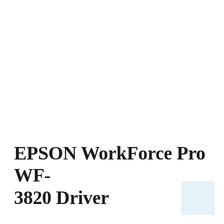EPSON WorkForce Pro WF-3820 Driver